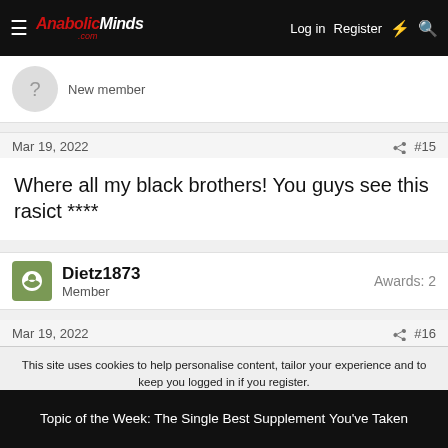AnabolicMinds.com — Log in  Register
New member
Mar 19, 2022  #15
Where all my black brothers! You guys see this rasict ****
Dietz1873  Member  Awards: 2
Mar 19, 2022  #16
This site uses cookies to help personalise content, tailor your experience and to keep you logged in if you register.
By continuing to use this site, you are consenting to our use of cookies.
Topic of the Week: The Single Best Supplement You've Taken